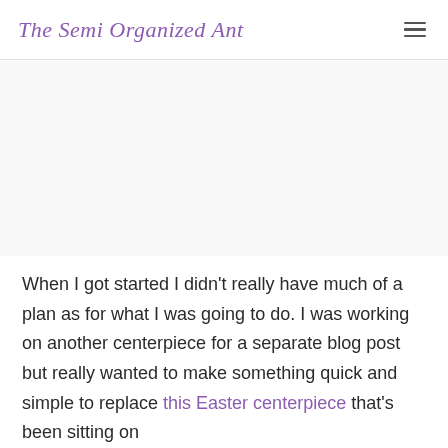The Semi Organized Ant
[Figure (other): Advertisement or blank content area below the site header]
When I got started I didn't really have much of a plan as for what I was going to do. I was working on another centerpiece for a separate blog post but really wanted to make something quick and simple to replace this Easter centerpiece that's been sitting on